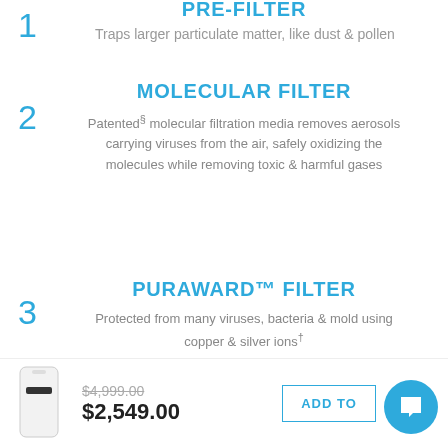PRE-FILTER
Traps larger particulate matter, like dust & pollen
MOLECULAR FILTER
Patented§ molecular filtration media removes aerosols carrying viruses from the air, safely oxidizing the molecules while removing toxic & harmful gases
PURAWARD™ FILTER
Protected from many viruses, bacteria & mold using copper & silver ions†
HEPA FINAL FILTER
[Figure (photo): White air purifier product image]
$4,999.00 (strikethrough) $2,549.00
ADD TO [CART]